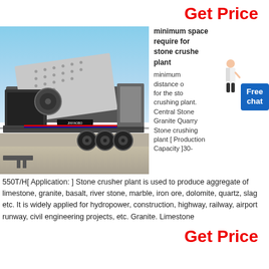Get Price
[Figure (photo): Mobile stone crushing plant mounted on a truck trailer, photographed outdoors against a blue sky.]
minimum space require for stone crusher plant
minimum distance of for the stone crushing plant. Central Stone Granite Quarry Stone crushing plant [ Production Capacity ]30-550T/H[ Application: ] Stone crusher plant is used to produce aggregate of limestone, granite, basalt, river stone, marble, iron ore, dolomite, quartz, slag etc. It is widely applied for hydropower, construction, highway, railway, airport runway, civil engineering projects, etc. Granite. Limestone
Get Price